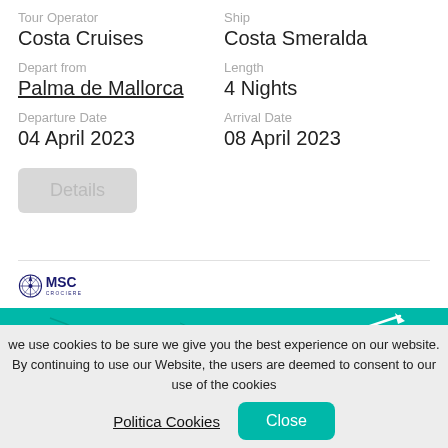Tour Operator: Costa Cruises
Ship: Costa Smeralda
Depart from: Palma de Mallorca
Length: 4 Nights
Departure Date: 04 April 2023
Arrival Date: 08 April 2023
Details
[Figure (logo): MSC Crociere logo with compass rose icon]
[Figure (map): Teal/turquoise map showing Mediterranean/Central European region including Slovenia label and route line]
we use cookies to be sure we give you the best experience on our website. By continuing to use our Website, the users are deemed to consent to our use of the cookies
Politica Cookies
Close